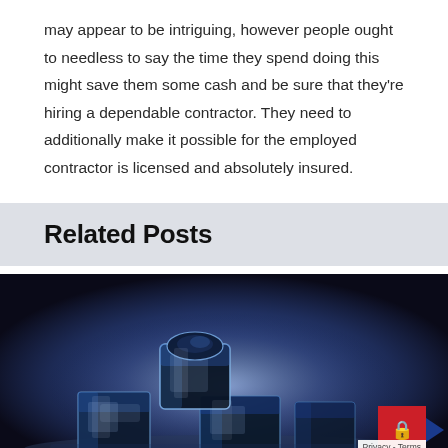may appear to be intriguing, however people ought to needless to say the time they spend doing this might save them some cash and be sure that they're hiring a dependable contractor. They need to additionally make it possible for the employed contractor is licensed and absolutely insured.
Related Posts
[Figure (photo): Photo of ice cubes stacked on top of each other with a dark, moody blue-grey background illuminated from behind]